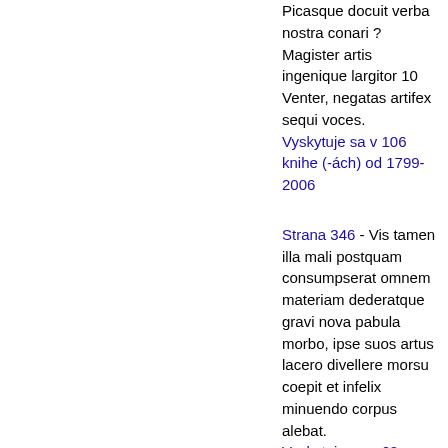Picasque docuit verba nostra conari ? Magister artis ingenique largitor 10 Venter, negatas artifex sequi voces. Vyskytuje sa v 106 knihe (-ách) od 1799-2006
Strana 346 - Vis tamen illa mali postquam consumpserat omnem materiam dederatque gravi nova pabula morbo, ipse suos artus lacero divellere morsu coepit et infelix minuendo corpus alebat. Vyskytuje sa v 68 knihe (-ách) od 1824-2006
Bibliografické informácie